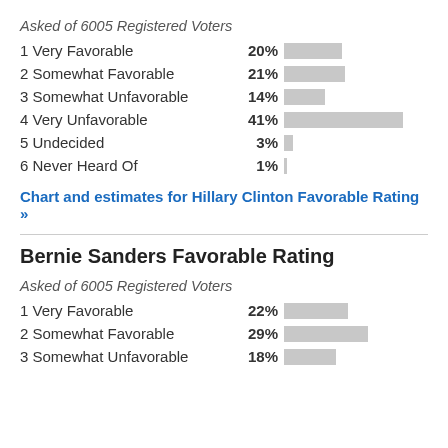Asked of 6005 Registered Voters
[Figure (bar-chart): Hillary Clinton Favorable Rating]
Chart and estimates for Hillary Clinton Favorable Rating »
Bernie Sanders Favorable Rating
Asked of 6005 Registered Voters
[Figure (bar-chart): Bernie Sanders Favorable Rating]